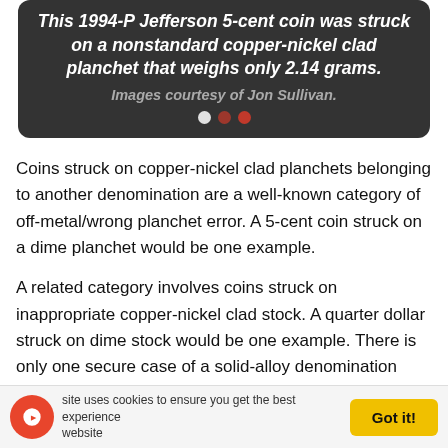[Figure (other): Dark rounded box with italic bold white text about a 1994-P Jefferson 5-cent coin struck on nonstandard copper-nickel clad planchet weighing 2.14 grams. Credit line: Images courtesy of Jon Sullivan. Three dots (carousel indicator) below.]
Coins struck on copper-nickel clad planchets belonging to another denomination are a well-known category of off-metal/wrong planchet error. A 5-cent coin struck on a dime planchet would be one example.
A related category involves coins struck on inappropriate copper-nickel clad stock. A quarter dollar struck on dime stock would be one example. There is only one secure case of a solid-alloy denomination being struck on clad stock; a 1987-P Jefferson 5-cent coin struck on copper-nickel clad quarter dollar stock. Only about five or six examples are known.
This site uses cookies to ensure you get the best experience on our website